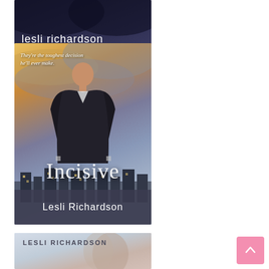[Figure (illustration): Partial book cover showing author name 'lesli richardson' in white text on dark background]
[Figure (illustration): Book cover for 'Incisive' by Lesli Richardson. Shows a man in dark suit seen from behind against dramatic sky with golden and cloudy tones. Tagline reads: They're the toughest decision he'll ever make. Title 'Incisive' in large serif font, author name in semi-transparent footer bar.]
[Figure (illustration): Partial book cover by Lesli Richardson showing couple and 'LESLI RICHARDSON' in dark text on light background]